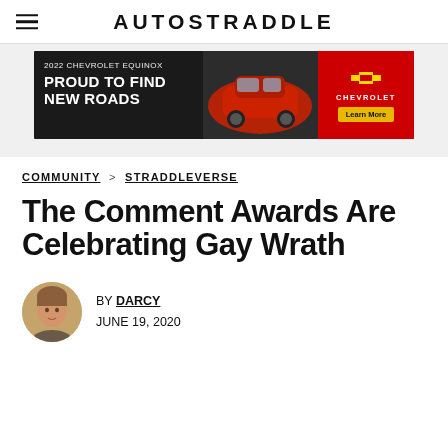AUTOSTRADDLE
[Figure (screenshot): Chevrolet advertisement banner: '2022 CHEVROLET EQUINOX – PROUD TO FIND NEW ROADS' with image of red SUV and Chevrolet logo with 'Learn More' button]
COMMUNITY > STRADDLEVERSE
The Comment Awards Are Celebrating Gay Wrath
BY DARCY
JUNE 19, 2020